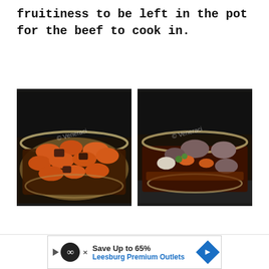fruitiness to be left in the pot for the beef to cook in.
[Figure (photo): Two side-by-side food photos showing a glass pot with beef and dried apricots (left) and a glass pot with beef, carrots, peas, and onions in dark sauce (right). Watermark text 'Veneraci' visible across both images.]
Save Up to 65% Leesburg Premium Outlets